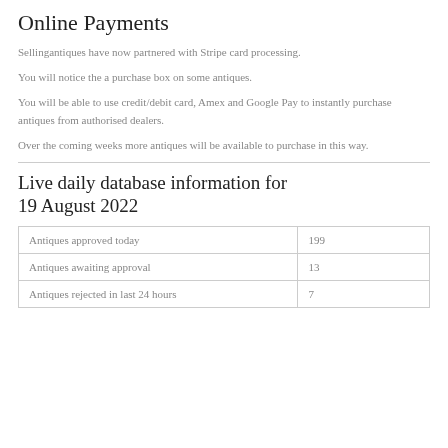Online Payments
Sellingantiques have now partnered with Stripe card processing.
You will notice the a purchase box on some antiques.
You will be able to use credit/debit card, Amex and Google Pay to instantly purchase antiques from authorised dealers.
Over the coming weeks more antiques will be available to purchase in this way.
Live daily database information for 19 August 2022
| Antiques approved today | 199 |
| Antiques awaiting approval | 13 |
| Antiques rejected in last 24 hours | 7 |